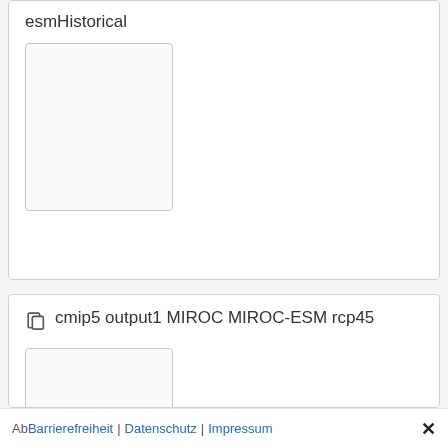esmHistorical
[Figure (other): Thumbnail image placeholder box (white/light background with border)]
cmip5 output1 MIROC MIROC-ESM rcp45
[Figure (other): Thumbnail image placeholder box (white/light background with border), partially visible]
Ab Barrierefreiheit | Datenschutz | Impressum